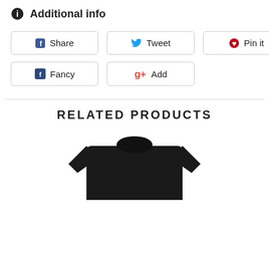Additional info
[Figure (infographic): Social sharing buttons: Share (Facebook), Tweet (Twitter), Pin it (Pinterest), Fancy, Add (Google+)]
RELATED PRODUCTS
[Figure (photo): Black t-shirt product image, partially visible, cropped at bottom of page]